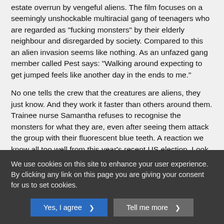estate overrun by vengeful aliens. The film focuses on a seemingly unshockable multiracial gang of teenagers who are regarded as “fucking monsters” by their elderly neighbour and disregarded by society. Compared to this an alien invasion seems like nothing. As an unfazed gang member called Pest says: “Walking around expecting to get jumped feels like another day in the ends to me.”
No one tells the crew that the creatures are aliens, they just know. And they work it faster than others around them. Trainee nurse Samantha refuses to recognise the monsters for what they are, even after seeing them attack the group with their fluorescent blue teeth. A reaction we know all too well from this year’s recent US election. Look to Donald Trump for a real world parallel. He revealed himself to be the creature he warned us about, yet the benefit of the doubt has been given to him by so many in the media. Marginalised people haven’t taken this approach. We prefer to believe the wolf
We use cookies on this site to enhance your user experience. By clicking any link on this page you are giving your consent for us to set cookies.